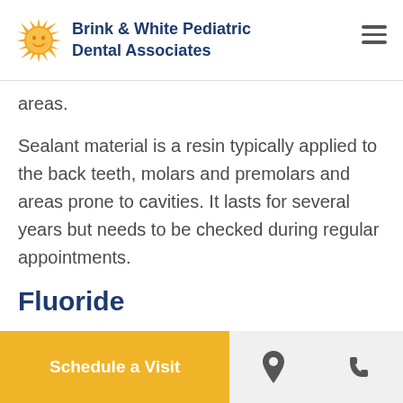Brink & White Pediatric Dental Associates
areas.
Sealant material is a resin typically applied to the back teeth, molars and premolars and areas prone to cavities. It lasts for several years but needs to be checked during regular appointments.
Fluoride
Fluoride is a substance that helps teeth
Schedule a Visit